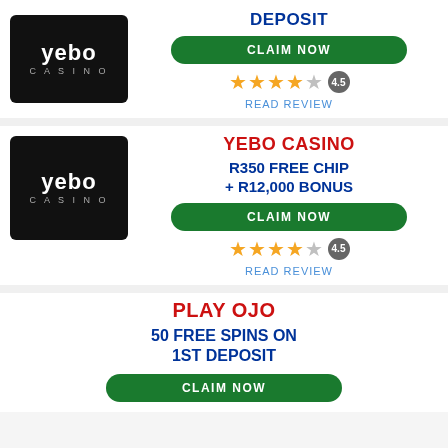[Figure (logo): Yebo Casino logo - white text on black background]
DEPOSIT
CLAIM NOW
4.5 stars rating
READ REVIEW
YEBO CASINO
[Figure (logo): Yebo Casino logo - white text on black background]
R350 FREE CHIP + R12,000 BONUS
CLAIM NOW
4.5 stars rating
READ REVIEW
PLAY OJO
50 FREE SPINS ON 1ST DEPOSIT
CLAIM NOW